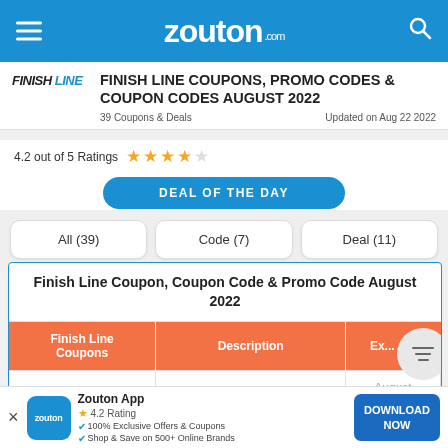zouton.com
FINISH LINE COUPONS, PROMO CODES & COUPON CODES AUGUST 2022
39 Coupons & Deals    Updated on Aug 22 2022
4.2 out of 5 Ratings ★★★★☆
DEAL OF THE DAY
All (39)   Code (7)   Deal (11)
Finish Line Coupon, Coupon Code & Promo Code August 2022
| Finish Line Coupons | Description | Ex... |
| --- | --- | --- |
| Save 10% | Save 10% on $100 and | August 21 |
Zouton App
4.2 Rating
100% Exclusive Offers & Coupons
Shop & Save on 500+ Online Brands
DOWNLOAD NOW